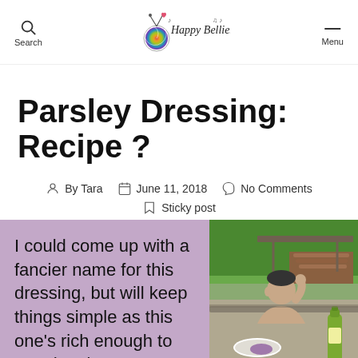Happy Bellies — Search | Menu
Parsley Dressing: Recipe ?
By Tara   June 11, 2018   No Comments   Sticky post
I could come up with a fancier name for this dressing, but will keep things simple as this one's rich enough to stand on its own.
[Figure (photo): A shirtless young man eating at an outdoor table, with green trees and a woodpile in the background. A green bottle and a white plate with food are on the table.]